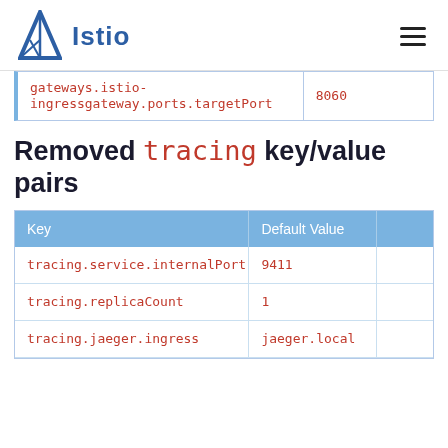Istio
| Key | Default Value |  |
| --- | --- | --- |
| gateways.istio-ingressgateway.ports.targetPort | 8060 |  |
Removed tracing key/value pairs
| Key | Default Value |  |
| --- | --- | --- |
| tracing.service.internalPort | 9411 |  |
| tracing.replicaCount | 1 |  |
| tracing.jaeger.ingress | jaeger.local |  |